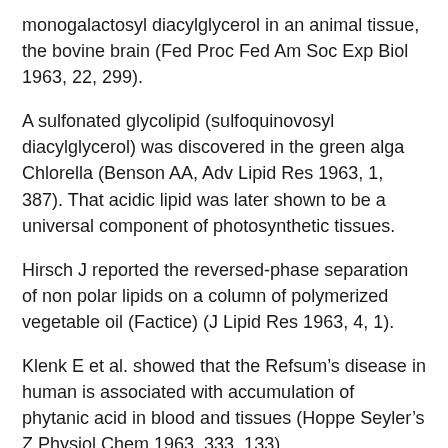monogalactosyl diacylglycerol in an animal tissue, the bovine brain (Fed Proc Fed Am Soc Exp Biol 1963, 22, 299).
A sulfonated glycolipid (sulfoquinovosyl diacylglycerol) was discovered in the green alga Chlorella (Benson AA, Adv Lipid Res 1963, 1, 387). That acidic lipid was later shown to be a universal component of photosynthetic tissues.
Hirsch J reported the reversed-phase separation of non polar lipids on a column of polymerized vegetable oil (Factice) (J Lipid Res 1963, 4, 1).
Klenk E et al. showed that the Refsum’s disease in human is associated with accumulation of phytanic acid in blood and tissues (Hoppe Seyler’s Z Physiol Chem 1963, 333, 133).
First demonstration of the presence of sphingophosphonolipids in lipid extracts of the sea anemone, Anthopleura elegantissima (Rouser G et al., J